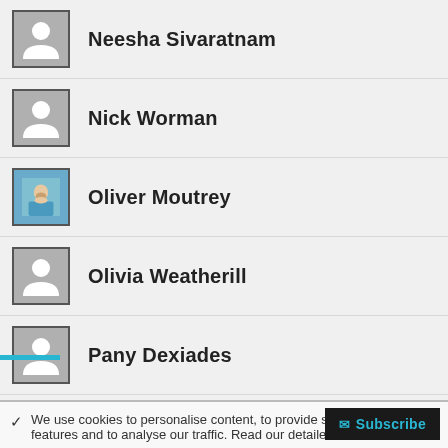Neesha Sivaratnam
Nick Worman
Oliver Moutrey
Olivia Weatherill
Pany Dexiades
Rachel Bulman
We use cookies to personalise content, to provide social media features and to analyse our traffic. Read our detailed co…
Subscribe